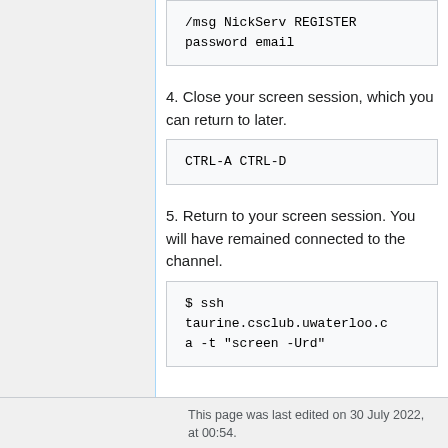/msg NickServ REGISTER password email
4. Close your screen session, which you can return to later.
CTRL-A CTRL-D
5. Return to your screen session. You will have remained connected to the channel.
$ ssh taurine.csclub.uwaterloo.ca -t "screen -Urd"
This page was last edited on 30 July 2022, at 00:54.